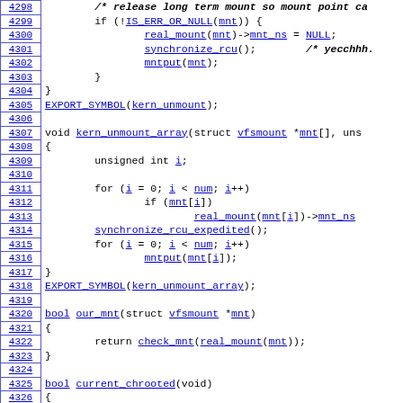[Figure (screenshot): Source code listing showing C kernel mount/unmount functions with line numbers 4298-4327, rendered as a code browser view with blue hyperlinked identifiers and line numbers.]